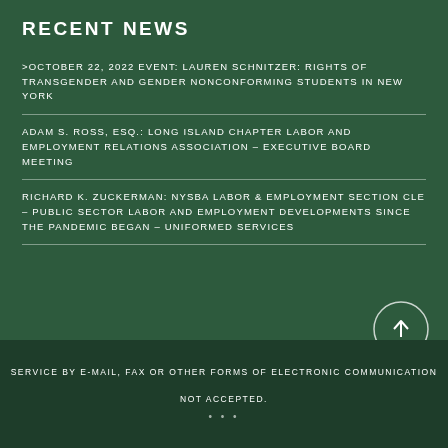RECENT NEWS
>OCTOBER 22, 2022 EVENT: LAUREN SCHNITZER: RIGHTS OF TRANSGENDER AND GENDER NONCONFORMING STUDENTS IN NEW YORK
ADAM S. ROSS, ESQ.: LONG ISLAND CHAPTER LABOR AND EMPLOYMENT RELATIONS ASSOCIATION – EXECUTIVE BOARD MEETING
RICHARD K. ZUCKERMAN: NYSBA LABOR & EMPLOYMENT SECTION CLE – PUBLIC SECTOR LABOR AND EMPLOYMENT DEVELOPMENTS SINCE THE PANDEMIC BEGAN – UNIFORMED SERVICES
[Figure (illustration): Circular scroll-to-top button with upward arrow icon, outlined in white on dark green background]
SERVICE BY E-MAIL, FAX OR OTHER FORMS OF ELECTRONIC COMMUNICATION

NOT ACCEPTED.